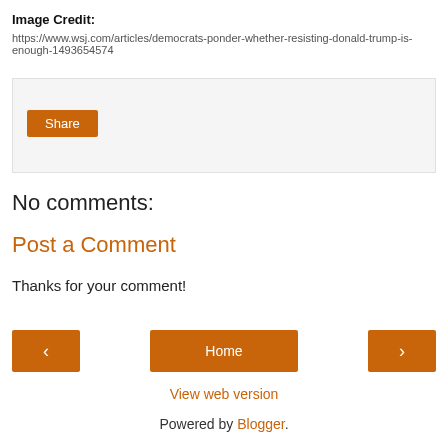Image Credit:
https://www.wsj.com/articles/democrats-ponder-whether-resisting-donald-trump-is-enough-1493654574
[Figure (other): Share button widget area with light gray background and an orange Share button]
No comments:
Post a Comment
Thanks for your comment!
< (previous navigation button)
Home
> (next navigation button)
View web version
Powered by Blogger.